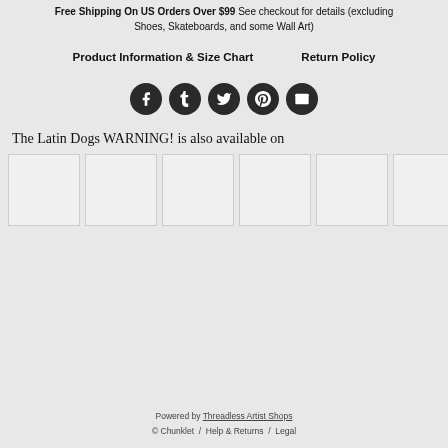Free Shipping On US Orders Over $99 See checkout for details (excluding Shoes, Skateboards, and some Wall Art)
Product Information & Size Chart    Return Policy
[Figure (infographic): Five circular dark social media share icons: Facebook, Tumblr, Twitter, Pinterest, Email]
The Latin Dogs WARNING! is also available on
[Figure (infographic): Six small product thumbnail boxes (light gray rectangles with border) showing product variants]
Powered by Threadless Artist Shops © Chunklet / Help & Returns / Legal